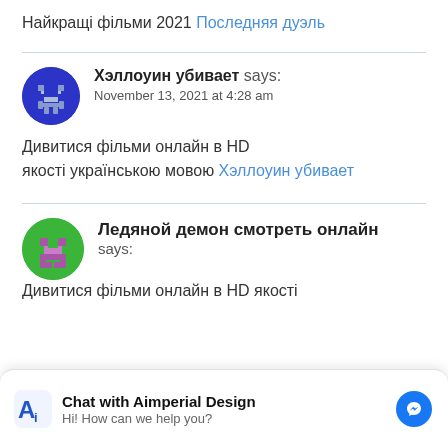Найкращі фільми 2021 Последняя дуэль
Хэллоуин убивает says:
November 13, 2021 at 4:28 am
Дивитися фільми онлайн в HD якості українською мовою Хэллоуин убивает
Ледяной демон смотреть онлайн says:
[Figure (screenshot): Chat widget overlay: Aimperial Design logo, 'Chat with Aimperial Design', 'Hi! How can we help you?', Messenger icon]
Дивитися фільми онлайн в HD якості